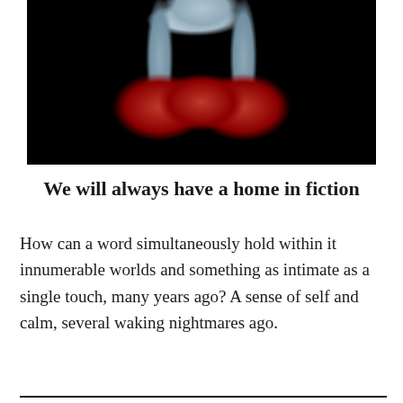[Figure (photo): Photo of ruby red slippers (Dorothy's shoes from Wizard of Oz) on legs wearing blue socks and a blue gingham dress, against a dark/black background.]
We will always have a home in fiction
How can a word simultaneously hold within it innumerable worlds and something as intimate as a single touch, many years ago? A sense of self and calm, several waking nightmares ago.